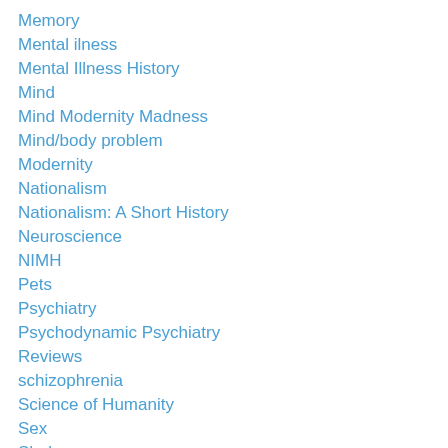Memory
Mental ilness
Mental Illness History
Mind
Mind Modernity Madness
Mind/body problem
Modernity
Nationalism
Nationalism: A Short History
Neuroscience
NIMH
Pets
Psychiatry
Psychodynamic Psychiatry
Reviews
schizophrenia
Science of Humanity
Sex
Shakespeare
Social Neuroscience